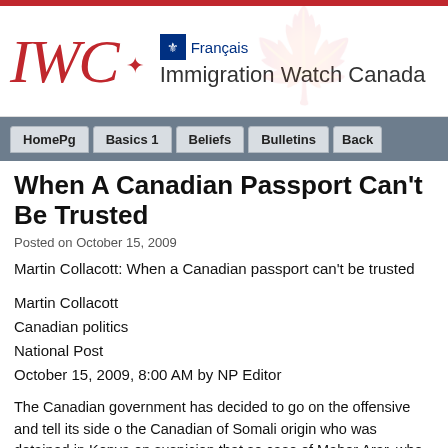[Figure (logo): IWC Immigration Watch Canada logo with red IWC letters, maple leaf, fleur-de-lis icon, Français link, and full organization name]
[Figure (other): Navigation bar with tabs: HomePg, Basics 1, Beliefs, Bulletins, Back (partially visible)]
When A Canadian Passport Can't Be Trusted
Posted on October 15, 2009
Martin Collacott: When a Canadian passport can't be trusted
Martin Collacott
Canadian politics
National Post
October 15, 2009, 8:00 AM by NP Editor
The Canadian government has decided to go on the offensive and tell its side of the story about the Canadian of Somali origin who was detained in Kenya on suspicion that so... case of Maher Arar, who was awarded more than $10-million by the Canadian g... Canadian decision for...